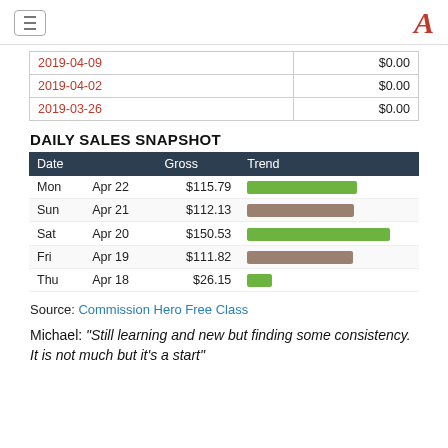Navigation header with hamburger menu and logo
| Date | Amount |
| --- | --- |
| 2019-04-09 | $0.00 |
| 2019-04-02 | $0.00 |
| 2019-03-26 | $0.00 |
DAILY SALES SNAPSHOT
| Date | Gross | Trend |
| --- | --- | --- |
| Mon  Apr 22 | $115.79 | bar |
| Sun  Apr 21 | $112.13 | bar |
| Sat  Apr 20 | $150.53 | bar |
| Fri  Apr 19 | $111.82 | bar |
| Thu  Apr 18 | $26.15 | bar |
Source: Commission Hero Free Class
Michael: "Still learning and new but finding some consistency. It is not much but it's a start"